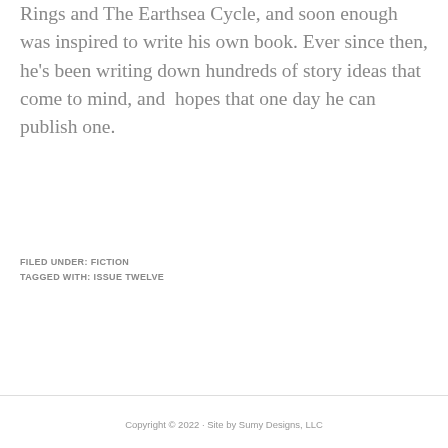Rings and The Earthsea Cycle, and soon enough was inspired to write his own book. Ever since then, he's been writing down hundreds of story ideas that come to mind, and hopes that one day he can publish one.
FILED UNDER: FICTION
TAGGED WITH: ISSUE TWELVE
Copyright © 2022 · Site by Sumy Designs, LLC